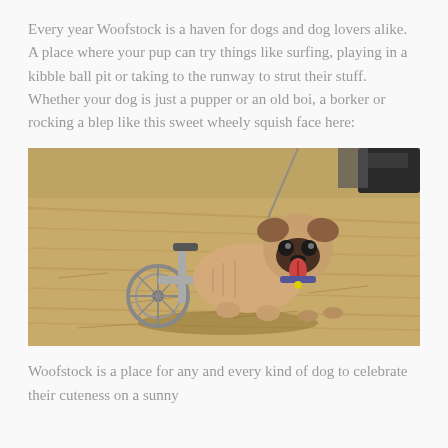Every year Woofstock is a haven for dogs and dog lovers alike. A place where your pup can try things like surfing, playing in a kibble ball pit or taking to the runway to strut their stuff. Whether your dog is just a pupper or an old boi, a borker or rocking a blep like this sweet wheely squish face here:
[Figure (photo): A pug dog in a wheelchair/mobility cart, tongue out, standing on straw/hay ground outdoors. A leash is attached. The dog appears happy. Background shows hay and partial view of shoes.]
Woofstock is a place for any and every kind of dog to celebrate their cuteness on a sunny